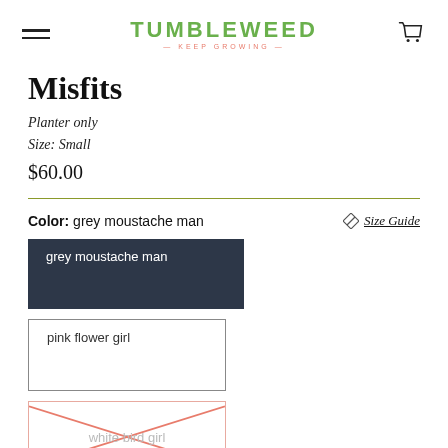TUMBLEWEED — KEEP GROWING
Misfits
Planter only
Size: Small
$60.00
Color: grey moustache man
Size Guide
grey moustache man
pink flower girl
white bird girl
Quantity